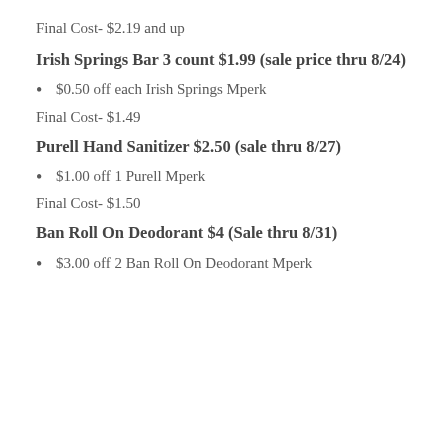Final Cost- $2.19 and up
Irish Springs Bar 3 count $1.99 (sale price thru 8/24)
$0.50 off each Irish Springs Mperk
Final Cost- $1.49
Purell Hand Sanitizer $2.50 (sale thru 8/27)
$1.00 off 1 Purell Mperk
Final Cost- $1.50
Ban Roll On Deodorant $4 (Sale thru 8/31)
$3.00 off 2 Ban Roll On Deodorant Mperk